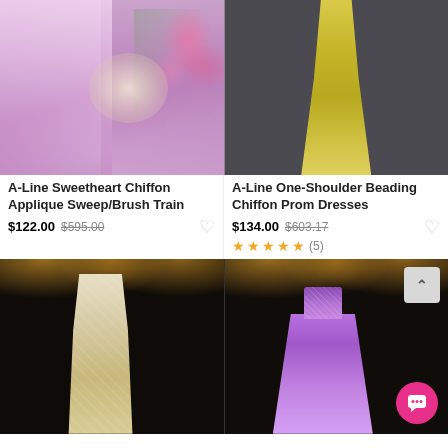[Figure (photo): A-Line Sweetheart Chiffon dress in lavender/pink with beaded back detail, worn outdoors with floral background]
[Figure (photo): A-Line One-Shoulder Beading Chiffon Prom Dress in yellow-green, worn against dark grey background]
A-Line Sweetheart Chiffon Applique Sweep/Brush Train
$122.00  $595.00
A-Line One-Shoulder Beading Chiffon Prom Dresses
$134.00  $603.17
★★★★★(5)
[Figure (photo): Mermaid style cream/beige lace dress with long sleeves, worn in dark chandelier setting]
[Figure (photo): Ball gown in lavender/purple with beaded bodice, worn in dark chandelier setting]